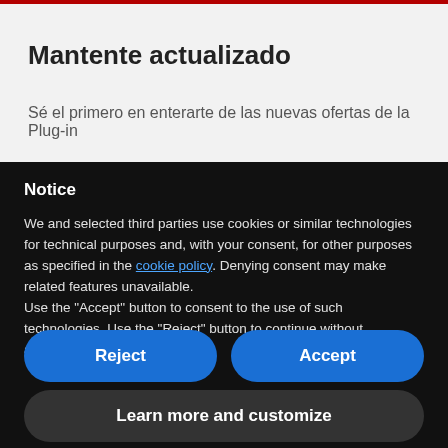Mantente actualizado
Sé el primero en enterarte de las nuevas ofertas de la Plug-in
Notice
We and selected third parties use cookies or similar technologies for technical purposes and, with your consent, for other purposes as specified in the cookie policy. Denying consent may make related features unavailable.
Use the "Accept" button to consent to the use of such technologies. Use the "Reject" button to continue without accepting.
Reject
Accept
Learn more and customize